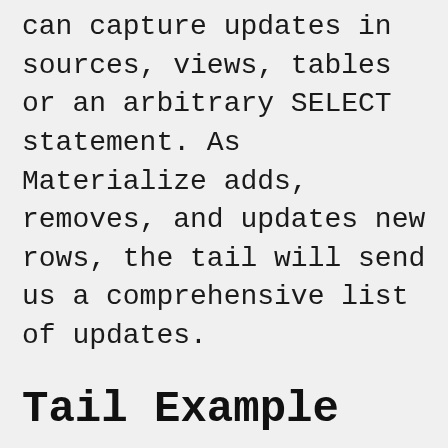can capture updates in sources, views, tables or an arbitrary SELECT statement. As Materialize adds, removes, and updates new rows, the tail will send us a comprehensive list of updates.
Tail Example
As an example, let's look at some temperature data and display the average values for the past minute: